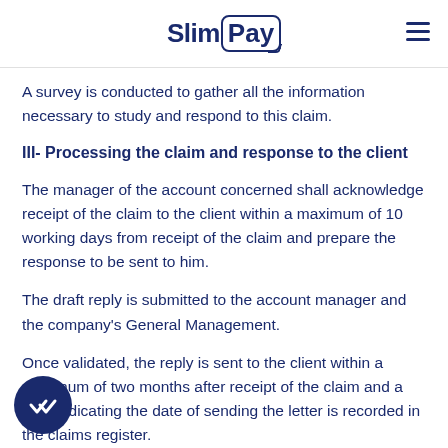SlimPay
A survey is conducted to gather all the information necessary to study and respond to this claim.
III- Processing the claim and response to the client
The manager of the account concerned shall acknowledge receipt of the claim to the client within a maximum of 10 working days from receipt of the claim and prepare the response to be sent to him.
The draft reply is submitted to the account manager and the company's General Management.
Once validated, the reply is sent to the client within a maximum of two months after receipt of the claim and a date indicating the date of sending the letter is recorded in the claims register.